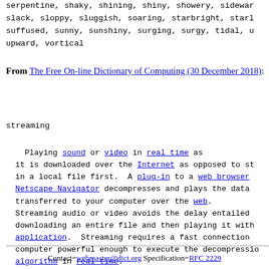serpentine, shaky, shining, shiny, showery, sideward, slack, sloppy, sluggish, soaring, starbright, starly, suffused, sunny, sunshiny, surging, surgy, tidal, up, upward, vortical
From The Free On-line Dictionary of Computing (30 December 2018):
streaming

   Playing sound or video in real time as it is downloaded over the Internet as opposed to storing in a local file first. A plug-in to a web browser such as Netscape Navigator decompresses and plays the data as it is transferred to your computer over the web. Streaming audio or video avoids the delay entailed by downloading an entire file and then playing it with a local application. Streaming requires a fast connection and a computer powerful enough to execute the decompression algorithm in real time.

(1996-11-06)
Contact=webmaster@dict.org Specification=RFC 2229